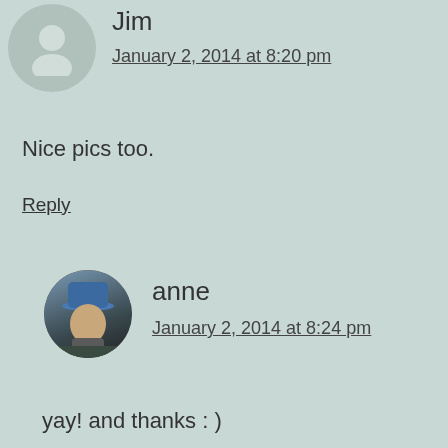[Figure (illustration): Circular gray avatar placeholder with silhouette icon for user Jim]
Jim
January 2, 2014 at 8:20 pm
Nice pics too.
Reply
[Figure (photo): Circular profile photo of user anne, wearing a blue cap and neck gaiter outdoors]
anne
January 2, 2014 at 8:24 pm
yay! and thanks : )
Reply